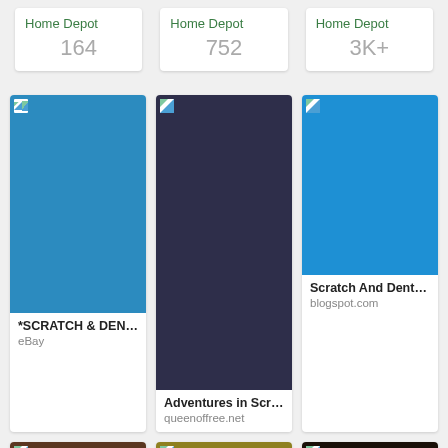Home Depot
164
Home Depot
752
Home Depot
3K+
[Figure (photo): Blue color swatch card - *SCRATCH & DENT* ... from eBay]
[Figure (photo): Dark navy/charcoal color swatch - Adventures in Scratch... from queenoffree.net]
[Figure (photo): Bright blue color swatch - Scratch And Dent: Scr... from blogspot.com]
[Figure (photo): Brown color swatch, no label visible]
[Figure (photo): Olive/yellow-green color swatch, no label visible]
[Figure (photo): Near-black dark brown color swatch, no label visible]